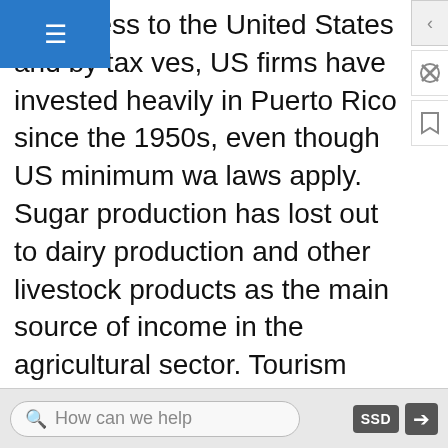ee access to the United States and by tax ves, US firms have invested heavily in Puerto Rico since the 1950s, even though US minimum wage laws apply. Sugar production has lost out to dairy production and other livestock products as the main source of income in the agricultural sector. Tourism has traditionally been an important source of income, with estimated arrivals of more than five million tourists a year. San Juan is the number one port for cruise ships in the Caribbean outside Miami. The US government also subsidizes Puerto Rico's economy with financial aid.
The future of Puerto Rico as a political unit remains unclear. Some in Puerto Rico want total independence, and others would like to become the
How can we help